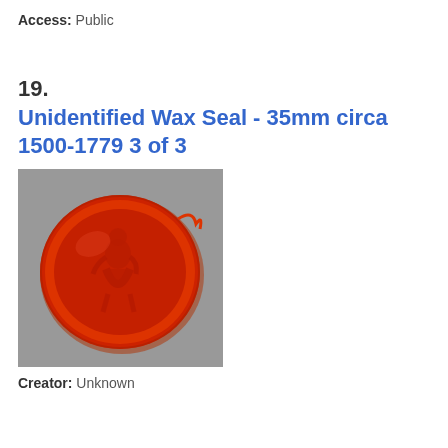Access: Public
19.
Unidentified Wax Seal - 35mm circa 1500-1779 3 of 3
[Figure (photo): A red wax seal approximately 35mm, circular shape with an embossed figure of a seated person, circa 1500-1779, photographed on a grey background.]
Creator: Unknown